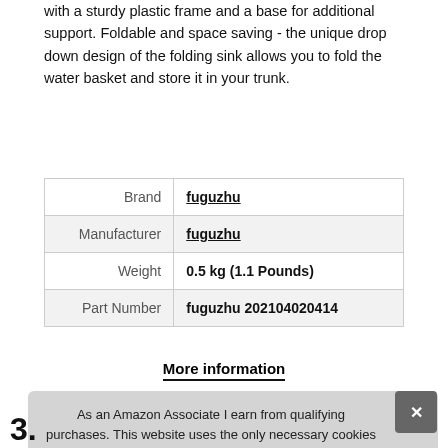with a sturdy plastic frame and a base for additional support. Foldable and space saving - the unique drop down design of the folding sink allows you to fold the water basket and store it in your trunk.
| Label | Value |
| --- | --- |
| Brand | fuguzhu |
| Manufacturer | fuguzhu |
| Weight | 0.5 kg (1.1 Pounds) |
| Part Number | fuguzhu 202104020414 |
More information
As an Amazon Associate I earn from qualifying purchases. This website uses the only necessary cookies to ensure you get the best experience on our website. More information
3.